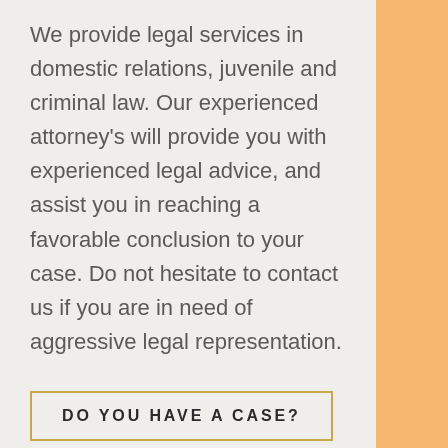We provide legal services in domestic relations, juvenile and criminal law.  Our experienced attorney's will provide you with experienced legal advice, and assist you in reaching a favorable conclusion to your case. Do not hesitate to contact us if you are in need of aggressive legal representation.
DO YOU HAVE A CASE?